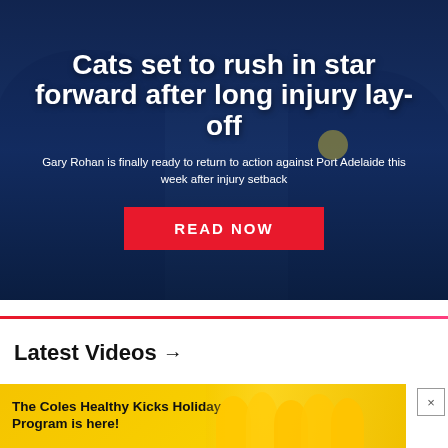[Figure (photo): Dark navy blue toned photo of Australian rules football players in action, used as hero background image]
Cats set to rush in star forward after long injury lay-off
Gary Rohan is finally ready to return to action against Port Adelaide this week after injury setback
READ NOW
Latest Videos →
[Figure (photo): Video thumbnail - dark/black rectangle placeholder for latest videos section]
[Figure (photo): Advertisement banner: The Coles Healthy Kicks Holiday Program is here! Yellow banner with children in yellow shirts]